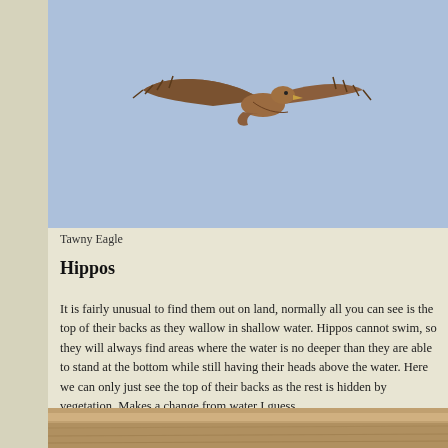[Figure (photo): A Tawny Eagle in flight against a pale blue sky, wings spread, viewed from below-side, brown plumage visible.]
Tawny Eagle
Hippos
It is fairly unusual to find them out on land, normally all you can see is the top of their backs as they wallow in shallow water. Hippos cannot swim, so they will always find areas where the water is no deeper than they are able to stand at the bottom while still having their heads above the water. Here we can only just see the top of their backs as the rest is hidden by vegetation. Makes a change from water I guess.
[Figure (photo): Partial view of hippos partially hidden in vegetation, brown earthy tones visible at the bottom of the page.]